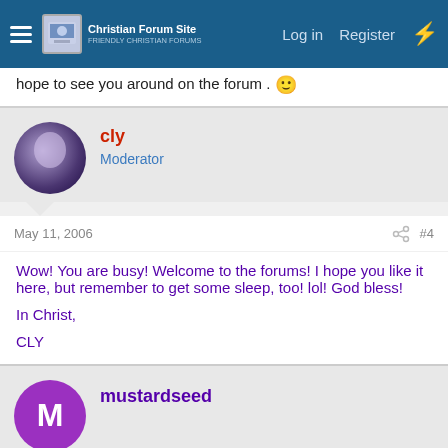Christian Forum Site | Log in | Register
hope to see you around on the forum . 🙂
cly
Moderator
May 11, 2006  #4
Wow! You are busy! Welcome to the forums! I hope you like it here, but remember to get some sleep, too! lol! God bless!

In Christ,

CLY
mustardseed
May 11, 2006  #5